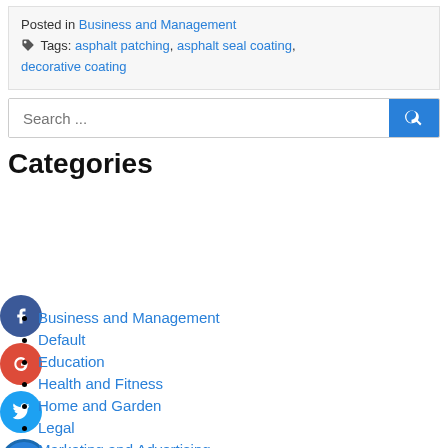Posted in Business and Management
🏷 Tags: asphalt patching, asphalt seal coating, decorative coating
Search ...
Categories
Business and Management
Default
Education
Health and Fitness
Home and Garden
Legal
Marketing and Advertising
Pets
Technology and Gadgets
Travel and Leisure